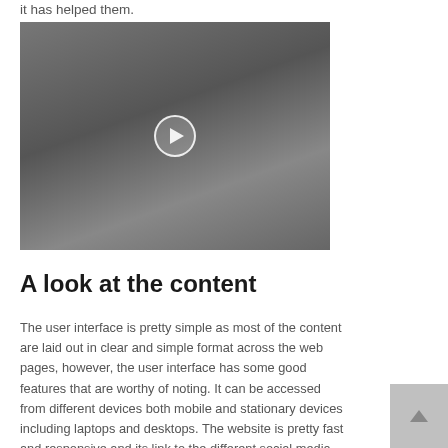it has helped them.
[Figure (photo): Two people grappling/wrestling on what appears to be a couch or mat, with a video play button overlay in the center.]
A look at the content
The user interface is pretty simple as most of the content are laid out in clear and simple format across the web pages, however, the user interface has some good features that are worthy of noting. It can be accessed from different devices both mobile and stationary devices including laptops and desktops. The website is pretty fast and responsive and its link to the different social media platforms for more intertwined connectivity across all digital platforms. The technical part of the website is